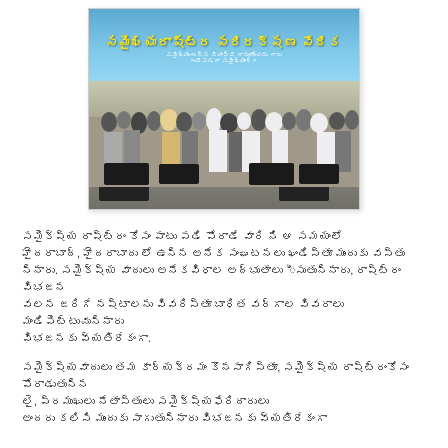[Figure (photo): Photograph of a political rally or public event. A large banner with Telugu script text 'సమైఖ్యరాష్ట్ర పరిరక్షణ వేదిక' is displayed at the top. Below the banner, a large crowd of people is gathered on a stage with speakers/sound equipment visible at the front.]
Telugu language paragraph text about the event and related political context. First paragraph describes the rally and its significance.
Telugu language paragraph text. Second paragraph continues describing related political activities and persons involved.